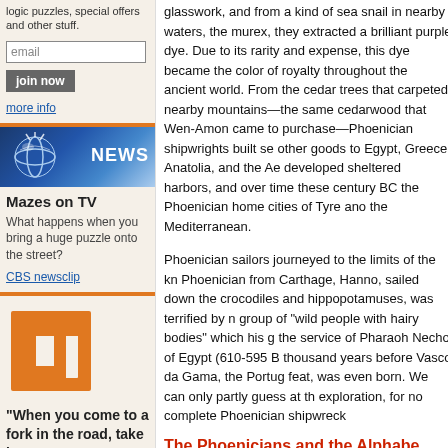logic puzzles, special offers and other stuff.
email
join now
more info
[Figure (photo): News banner with globe graphic and NEWS text]
Mazes on TV
What happens when you bring a huge puzzle onto the street?
CBS newsclip
[Figure (logo): Orange maze/square logo icon]
"When you come to a fork in the road, take it." —Yogi Berra
glasswork, and from a kind of sea snail in nearby waters, the murex, they extracted a brilliant purple dye. Due to its rarity and expense, this dye became the color of royalty throughout the ancient world. From the cedar trees that carpeted nearby mountains—the same cedarwood that Wen-Amon came to purchase—Phoenician shipwrights built se other goods to Egypt, Greece, Anatolia, and the Ae developed sheltered harbors, and over time these century BC the Phoenician home cities of Tyre ano the Mediterranean.
Phoenician sailors journeyed to the limits of the kn Phoenician from Carthage, Hanno, sailed down the crocodiles and hippopotamuses, was terrified by n group of "wild people with hairy bodies" which his g the service of Pharaoh Necho of Egypt (610-595 B thousand years before Vasco da Gama, the Portug feat, was even born. We can only partly guess at th exploration, for no complete Phoenician shipwreck
The Phoenicians and the Alphabe
Most people who have heard of the Phoenicians h been a common belief since ancient times, but it is develop the beginnings of an alphabetic script, tho